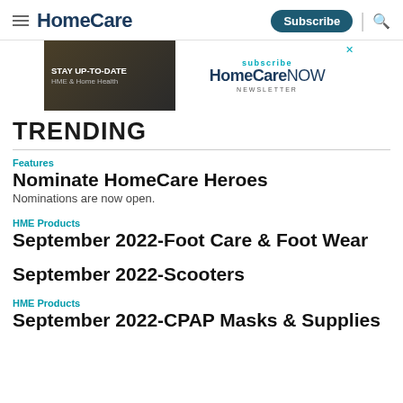HomeCare — Subscribe
[Figure (screenshot): Advertisement banner for HomeCare NOW Newsletter: 'STAY UP-TO-DATE HME & Home Health — subscribe HomeCareNOW NEWSLETTER']
TRENDING
Features
Nominate HomeCare Heroes
Nominations are now open.
HME Products
September 2022-Foot Care & Foot Wear
September 2022-Scooters
HME Products
September 2022-CPAP Masks & Supplies